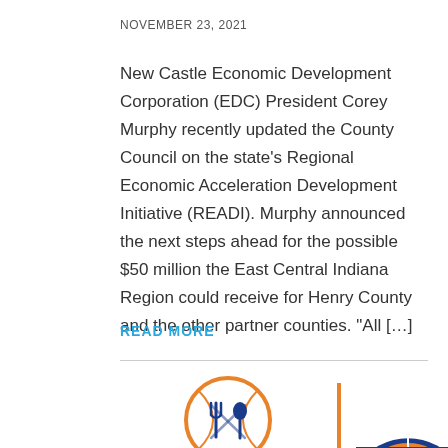NOVEMBER 23, 2021
New Castle Economic Development Corporation (EDC) President Corey Murphy recently updated the County Council on the state’s Regional Economic Acceleration Development Initiative (READI). Murphy announced the next steps ahead for the possible $50 million the East Central Indiana Region could receive for Henry County and the other partner counties. “All […]
READ MORE
[Figure (logo): Henry County IN logo with fork and spoon crossed inside an orange circle, with text 'Henry County, IN' below in blue italic]
[Figure (logo): Basketball tournament logo with orange/blue basketball graphic and text 'SKETRA' visible, partially cropped]